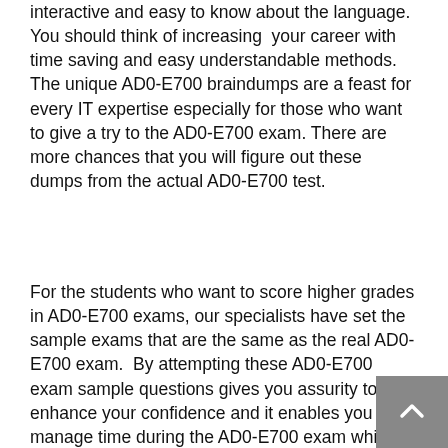interactive and easy to know about the language.  You should think of increasing  your career with time saving and easy understandable methods. The unique AD0-E700 braindumps are a feast for every IT expertise especially for those who want to give a try to the AD0-E700 exam. There are more chances that you will figure out these dumps from the actual AD0-E700 test.
For the students who want to score higher grades in AD0-E700 exams, our specialists have set the sample exams that are the same as the real AD0-E700 exam.  By attempting these AD0-E700 exam sample questions gives you assurity to enhance your confidence and it enables you to manage time during the AD0-E700 exam which can let you solve the problems easily. You can find the AD0-E700